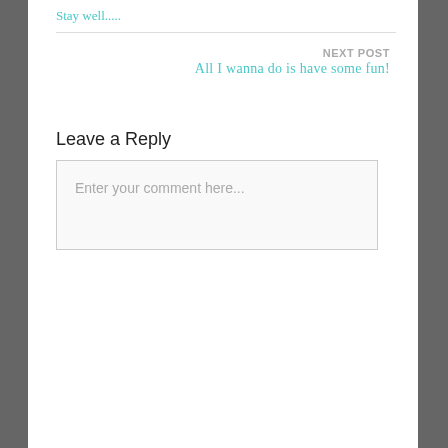Stay well.....
NEXT POST
All I wanna do is have some fun!
Leave a Reply
Enter your comment here...
Search ...